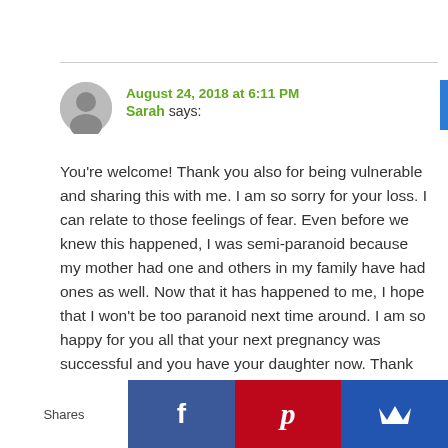August 24, 2018 at 6:11 PM
Sarah says:
You're welcome! Thank you also for being vulnerable and sharing this with me. I am so sorry for your loss. I can relate to those feelings of fear. Even before we knew this happened, I was semi-paranoid because my mother had one and others in my family have had ones as well. Now that it has happened to me, I hope that I won't be too paranoid next time around. I am so happy for you all that your next pregnancy was successful and you have your daughter now. Thank you again for your kind words and your encouragement!
Shares